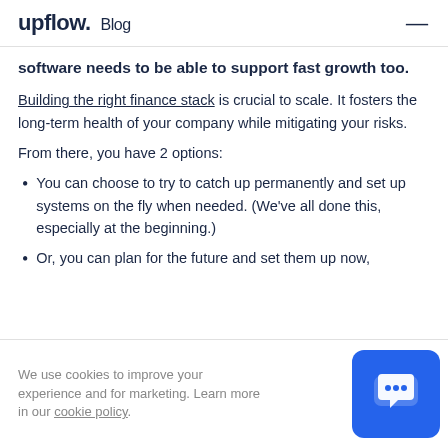upflow. Blog
software needs to be able to support fast growth too.
Building the right finance stack is crucial to scale. It fosters the long-term health of your company while mitigating your risks.
From there, you have 2 options:
You can choose to try to catch up permanently and set up systems on the fly when needed. (We've all done this, especially at the beginning.)
Or, you can plan for the future and set them up now,
We use cookies to improve your experience and for marketing. Learn more in our cookie policy.